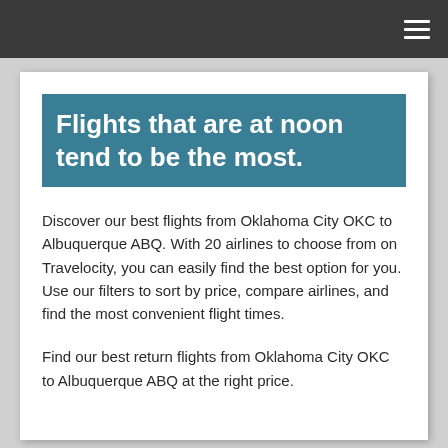≡
Flights that are at noon tend to be the most.
Discover our best flights from Oklahoma City OKC to Albuquerque ABQ. With 20 airlines to choose from on Travelocity, you can easily find the best option for you. Use our filters to sort by price, compare airlines, and find the most convenient flight times.
Find our best return flights from Oklahoma City OKC to Albuquerque ABQ at the right price.